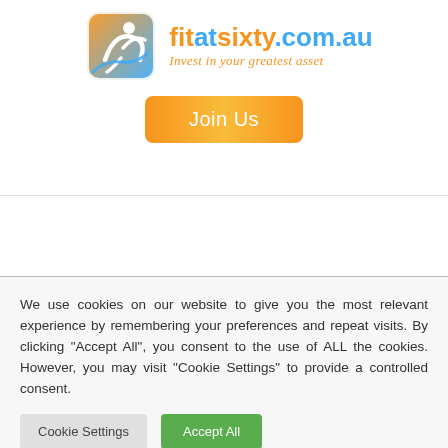[Figure (logo): fitatsixty.com.au logo with colorful figure icon and brand name with tagline 'Invest in your greatest asset']
[Figure (other): Orange gradient 'Join Us' button]
We use cookies on our website to give you the most relevant experience by remembering your preferences and repeat visits. By clicking "Accept All", you consent to the use of ALL the cookies. However, you may visit "Cookie Settings" to provide a controlled consent.
Cookie Settings
Accept All